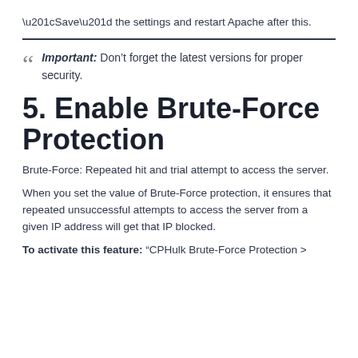“Save” the settings and restart Apache after this.
Important: Don’t forget the latest versions for proper security.
5. Enable Brute-Force Protection
Brute-Force: Repeated hit and trial attempt to access the server.
When you set the value of Brute-Force protection, it ensures that repeated unsuccessful attempts to access the server from a given IP address will get that IP blocked.
To activate this feature: “CPHulk Brute-Force Protection >